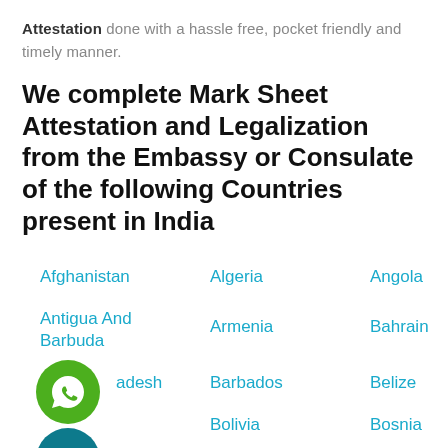Attestation done with a hassle free, pocket friendly and timely manner.
We complete Mark Sheet Attestation and Legalization from the Embassy or Consulate of the following Countries present in India
Afghanistan
Algeria
Angola
Antigua And Barbuda
Armenia
Bahrain
Bangladesh
Barbados
Belize
Bolivia
Bosnia